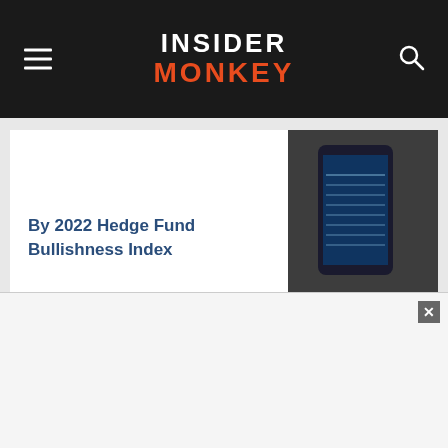Insider Monkey
By 2022 Hedge Fund Bullishness Index
[Figure (photo): Person holding a smartphone displaying stock market data charts]
15 Dow Stocks Listed and Ranked By 2022 Hedge Fund Bullishness Index
[Figure (photo): Multiple Dow Jones stock market charts printed on paper, showing line graphs with orange trend lines]
10 Biggest Utility
[Figure (photo): Dark blue/teal colored image partially visible]